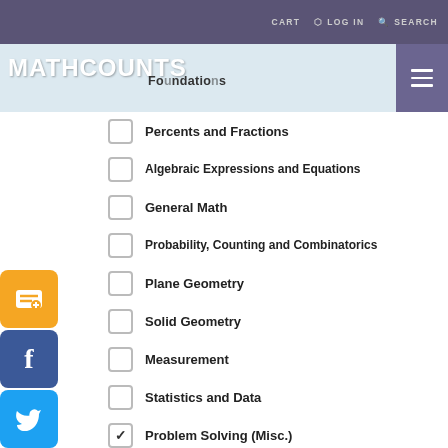CART  LOG IN  SEARCH
MATHCOUNTS
Foundations
Percents and Fractions
Algebraic Expressions and Equations
General Math
Probability, Counting and Combinatorics
Plane Geometry
Solid Geometry
Measurement
Statistics and Data
Problem Solving (Misc.) [checked]
CCSS (COMMON CORE STATE STANDARD)
6.RP.3
DIFFICULTY
Medium